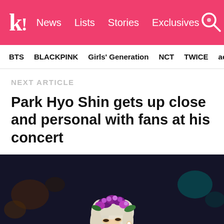k! News Lists Stories Exclusives
BTS BLACKPINK Girls' Generation NCT TWICE aespa
NEXT ARTICLE
Park Hyo Shin gets up close and personal with fans at his concert
[Figure (photo): Park Hyo Shin performing on stage wearing a purple flower crown and black outfit, holding a microphone, with white/blonde hair, concert venue with dark background]